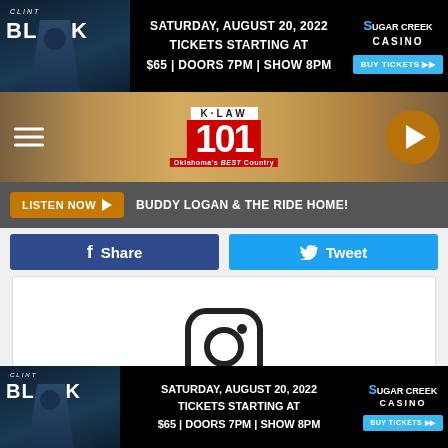[Figure (other): Clint Black advertisement banner for Sugar Creek Casino show on Saturday, August 20, 2022. Tickets starting at $65, Doors 7PM, Show 8PM. BUY TICKETS button.]
[Figure (logo): K-LAW 101 Oklahoma's Best Country radio station logo with navigation hamburger menu and play button]
LISTEN NOW ▶  BUDDY LOGAN & THE RIDE HOME!
[Figure (other): Facebook Share button and Twitter Tweet button]
[Figure (other): Instagram embed placeholder with Instagram icon and 'View this post on Instagram' link]
[Figure (other): Bottom Clint Black advertisement banner for Sugar Creek Casino show on Saturday, August 20, 2022. Tickets starting at $65, Doors 7PM, Show 8PM.]